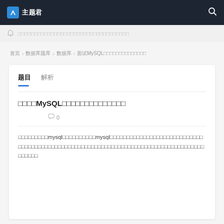主题君
□□□□□□□□□□□□□□□□□□□□□□□□□□
首页 > 数据库题库 > 数据库 > 面试MySQL□□□□□□□□□□□□□□
题目  解析
□□□□MySQL□□□□□□□□□□□□□□
💬 0
□□□□□□□□□mysql□□□□□□□□□□mysql□□□□□□□□□□□□□□□□□□□□□□□□□□□□□□□□□□□□□□□□□□□□□□□□□□□□□□□□□□□□□□□□□□□□